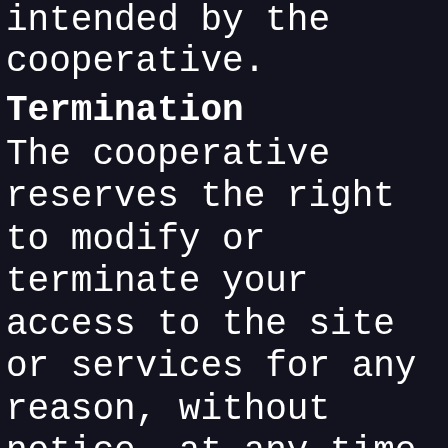intended by the cooperative.
Termination
The cooperative reserves the right to modify or terminate your access to the site or services for any reason, without notice, at any time, and without liability to you. Upon termination, all rights granted to you under these Terms will immediately cease.
Exclusion of Warranties
Nothing in these Terms shall affect any statutory rights that you are entitled as a consumer and that you